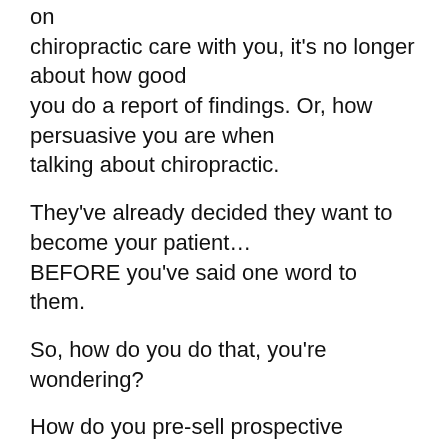on chiropractic care with you, it's no longer about how good you do a report of findings. Or, how persuasive you are when talking about chiropractic.
They've already decided they want to become your patient... BEFORE you've said one word to them.
So, how do you do that, you're wondering?
How do you pre-sell prospective patients before they walk in your door?
You do it with your marketing, that's how.
Always remember, the purpose of your marketing is to make